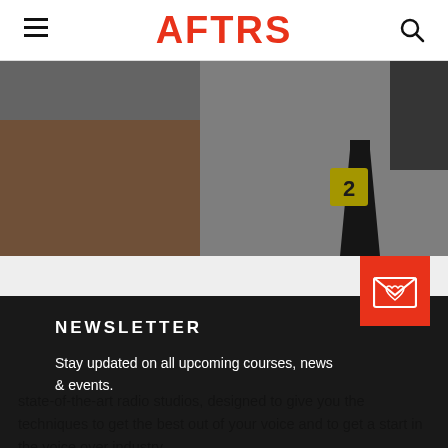AFTRS
[Figure (photo): Dark blurry photo showing a crime scene number marker '2' on a black cone, with blurred background of brown and grey tones — appears to be a film/TV studio set.]
[Figure (illustration): Red envelope icon on a red square background representing newsletter signup.]
NEWSLETTER
Stay updated on all upcoming courses, news & events.
state-of-the-art radio studios, designed to give you the techniques to get the best out of your voice and to get a start in the voice over industry.